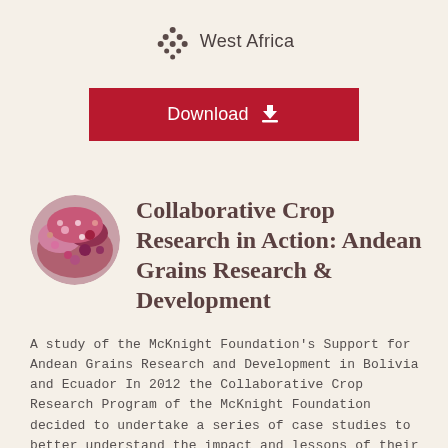West Africa
[Figure (other): Download button with download icon on dark red background]
[Figure (photo): Circular thumbnail photo of colorful Andean grains (quinoa/amaranth), showing pink, purple and red hues]
Collaborative Crop Research in Action: Andean Grains Research & Development
A study of the McKnight Foundation's Support for Andean Grains Research and Development in Bolivia and Ecuador In 2012 the Collaborative Crop Research Program of the McKnight Foundation decided to undertake a series of case studies to better understand the impact and lessons of their